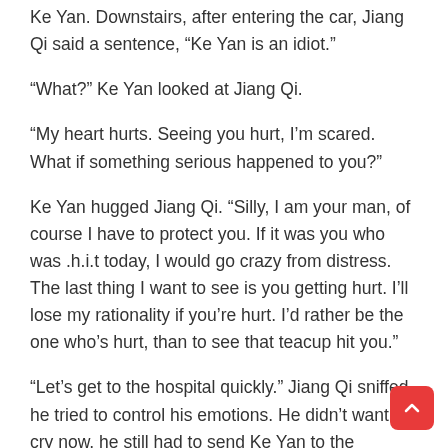Ke Yan. Downstairs, after entering the car, Jiang Qi said a sentence, “Ke Yan is an idiot.”
“What?” Ke Yan looked at Jiang Qi.
“My heart hurts. Seeing you hurt, I’m scared. What if something serious happened to you?”
Ke Yan hugged Jiang Qi. “Silly, I am your man, of course I have to protect you. If it was you who was .h.i.t today, I would go crazy from distress. The last thing I want to see is you getting hurt. I’ll lose my rationality if you’re hurt. I’d rather be the one who’s hurt, than to see that teacup hit you.”
“Let’s get to the hospital quickly.” Jiang Qi sniffed, he tried to control his emotions. He didn’t want to cry now, he still had to send Ke Yan to the hospital.